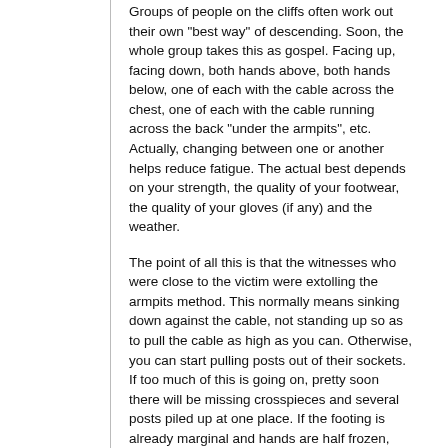Groups of people on the cliffs often work out their own "best way" of descending. Soon, the whole group takes this as gospel. Facing up, facing down, both hands above, both hands below, one of each with the cable across the chest, one of each with the cable running across the back "under the armpits", etc. Actually, changing between one or another helps reduce fatigue. The actual best depends on your strength, the quality of your footwear, the quality of your gloves (if any) and the weather.
The point of all this is that the witnesses who were close to the victim were extolling the armpits method. This normally means sinking down against the cable, not standing up so as to pull the cable as high as you can. Otherwise, you can start pulling posts out of their sockets. If too much of this is going on, pretty soon there will be missing crosspieces and several posts piled up at one place. If the footing is already marginal and hands are half frozen, things can go very badly